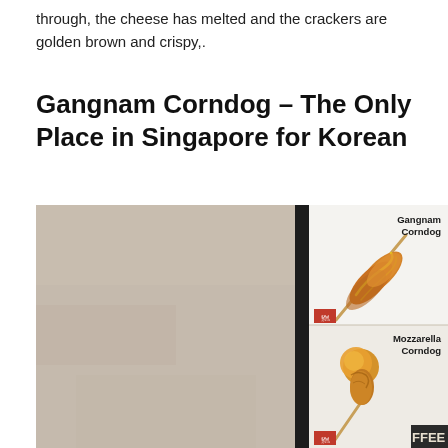through, the cheese has melted and the crackers are golden brown and crispy,.
Gangnam Corndog – The Only Place in Singapore for Korean
[Figure (photo): Photo of a Gangnam Corndog restaurant display panel showing two products: 'Gangnam Corndog' (top panel, a spiral-shaped corndog on a stick with sauce drizzle) and 'Mozzarella Corndog' (bottom panel, a round-topped corndog on a stick), set against a stone/concrete wall interior. A partial 'FFEE' text visible at bottom right corner.]